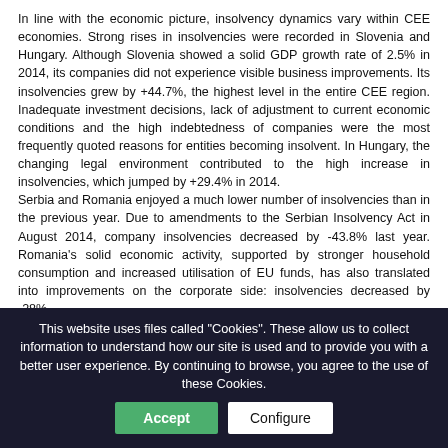In line with the economic picture, insolvency dynamics vary within CEE economies. Strong rises in insolvencies were recorded in Slovenia and Hungary. Although Slovenia showed a solid GDP growth rate of 2.5% in 2014, its companies did not experience visible business improvements. Its insolvencies grew by +44.7%, the highest level in the entire CEE region. Inadequate investment decisions, lack of adjustment to current economic conditions and the high indebtedness of companies were the most frequently quoted reasons for entities becoming insolvent. In Hungary, the changing legal environment contributed to the high increase in insolvencies, which jumped by +29.4% in 2014.
Serbia and Romania enjoyed a much lower number of insolvencies than in the previous year. Due to amendments to the Serbian Insolvency Act in August 2014, company insolvencies decreased by -43.8% last year. Romania's solid economic activity, supported by stronger household consumption and increased utilisation of EU funds, has also translated into improvements on the corporate side: insolvencies decreased by -28%.
Positive Outlook: insolvencies continue to fall
Company insolvencies in the CEE region will continue to see an improving trend. Before forecasting the exact number of...
This website uses files called "Cookies". These allow us to collect information to understand how our site is used and to provide you with a better user experience. By continuing to browse, you agree to the use of these Cookies.